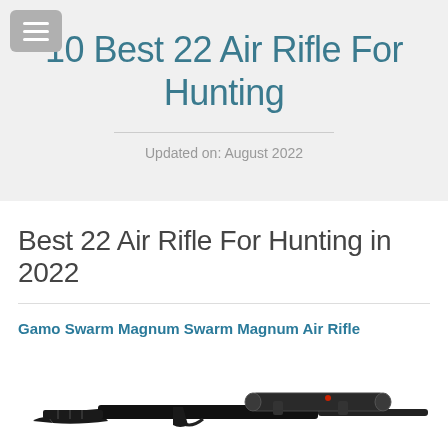10 Best 22 Air Rifle For Hunting
Updated on: August 2022
Best 22 Air Rifle For Hunting in 2022
Gamo Swarm Magnum Swarm Magnum Air Rifle
[Figure (photo): Photo of a Gamo Swarm Magnum Air Rifle with scope, shown in profile against a white background]